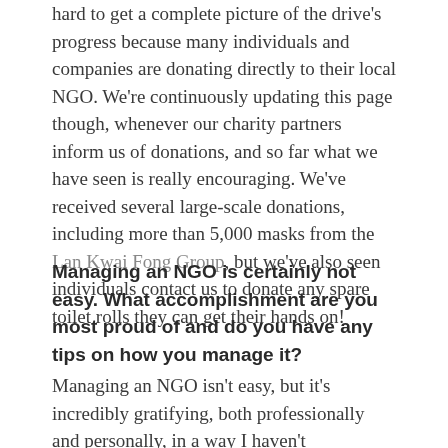hard to get a complete picture of the drive's progress because many individuals and companies are donating directly to their local NGO. We're continuously updating this page though, whenever our charity partners inform us of donations, and so far what we have seen is really encouraging. We've received several large-scale donations, including more than 5,000 masks from the Lan Kwai Fong Group, but we've also seen individuals contact us to donate any spare toilet rolls they can get their hands on!
Managing an NGO is certainly not easy. What accomplishment are you most proud of and do you have any tips on how you manage it?
Managing an NGO isn't easy, but it's incredibly gratifying, both professionally and personally, in a way I haven't experienced before. As a mother of three young children, I'm passionate about educating